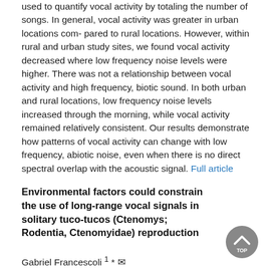used to quantify vocal activity by totaling the number of songs. In general, vocal activity was greater in urban locations com- pared to rural locations. However, within rural and urban study sites, we found vocal activity decreased where low frequency noise levels were higher. There was not a relationship between vocal activity and high frequency, biotic sound. In both urban and rural locations, low frequency noise levels increased through the morning, while vocal activity remained relatively consistent. Our results demonstrate how patterns of vocal activity can change with low frequency, abiotic noise, even when there is no direct spectral overlap with the acoustic signal. Full article
Environmental factors could constrain the use of long-range vocal signals in solitary tuco-tucos (Ctenomys; Rodentia, Ctenomyidae) reproduction
Gabriel Francescoli 1 * ✉